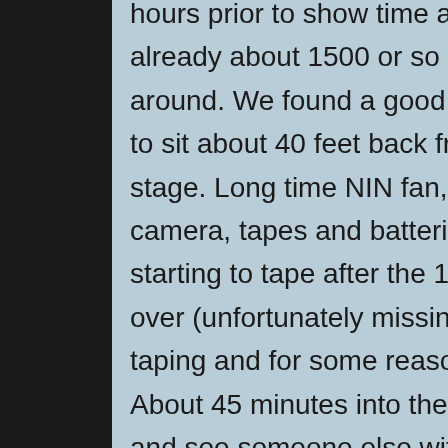hours prior to show time and there were already about 1500 or so people waiting around. We found a good comfortable place to sit about 40 feet back from left-center stage. Long time NIN fan, loaded with a camera, tapes and batteries, I couldn't resist starting to tape after the 1st song was partially over (unfortunately missing the intro). I began taping and for some reason just couldn't stop. About 45 minutes into the show, I look over and see someone else with a video camera about 10 feet to my right. I slap him on the shoulder and say we should get together after the show. Sure enough he finds me after the show. Even with tape and battery changes and missing the intro, between him and I we had the whole show! A new taper friend for life. I chopped it together and couldn't resist giving it for everyone else to enjoy. Much thanks to everyone who helped and especially to Nine Inch Nails for the many years of wonderful and beautiful